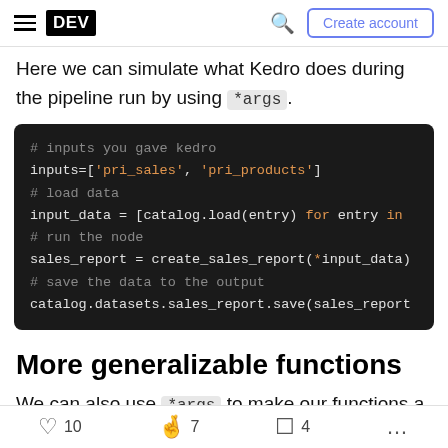DEV | Create account
Here we can simulate what Kedro does during the pipeline run by using *args.
[Figure (screenshot): Code block on dark background showing Python code: # inputs you gave kedro, inputs=['pri_sales', 'pri_products'], # load data, input_data = [catalog.load(entry) for entry in, # run the node, sales_report = create_sales_report(*input_data), # save the data to the output, catalog.datasets.sales_report.save(sales_report]
More generalizable functions
We can also use *args to make our functions a little
10   7   4   ...